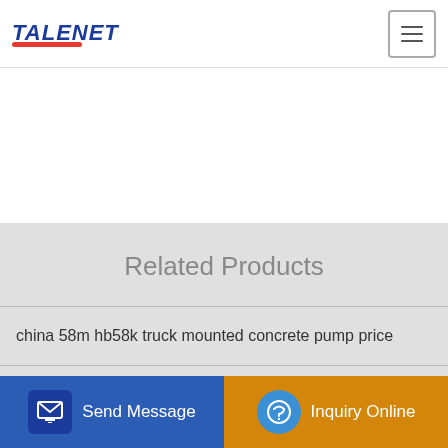TALENET
Related Products
china 58m hb58k truck mounted concrete pump price
Heavy-Duty And Versatile elbow for concrete pump truck
China Cheap 4 M3 Small Concrete Transit Mixer Truck Pump Price
able concrete pumping ibt30 concrete mixer with pump